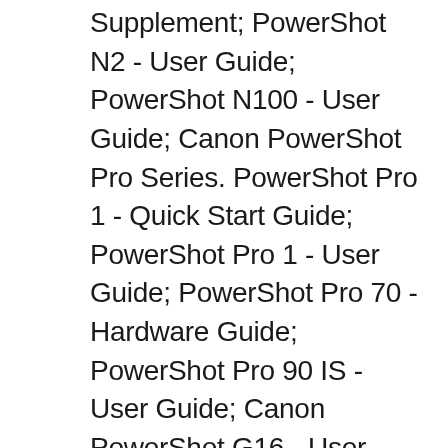Supplement; PowerShot N2 - User Guide; PowerShot N100 - User Guide; Canon PowerShot Pro Series. PowerShot Pro 1 - Quick Start Guide; PowerShot Pro 1 - User Guide; PowerShot Pro 70 - Hardware Guide; PowerShot Pro 90 IS - User Guide; Canon PowerShot G16 - User Guide; Canon PowerShot N Series. PowerShot N - User Guide; PowerShot N Facebook Ready - Supplement; PowerShot N2 - User Guide; PowerShot N100 - User Guide; Canon PowerShot Pro Series. PowerShot Pro 1 - Quick Start Guide; PowerShot Pro 1 - User Guide; PowerShot Pro 70 - Hardware Guide; PowerShot Pro 90 IS - User Guide; Canon